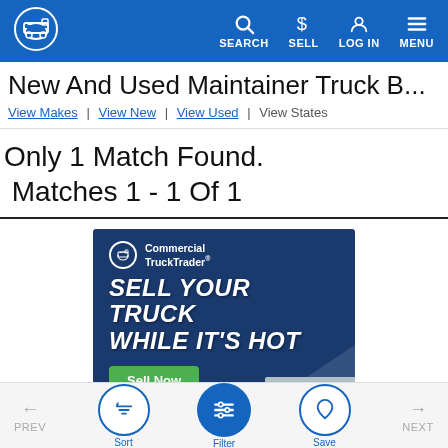Commercial Truck Trader — SEARCH | SELL | LOG IN | MENU
New And Used Maintainer Truck B...
View Makes | View New | View Used | View States
Only 1 Match Found.
Matches 1 - 1 Of 1
[Figure (infographic): Commercial Truck Trader advertisement banner with blue background. Shows logo, text 'SELL YOUR TRUCK WHILE IT'S HOT' in large italic white letters, and a green 'Sell Now' button.]
PREV | Sort | Filter | Save | NEXT